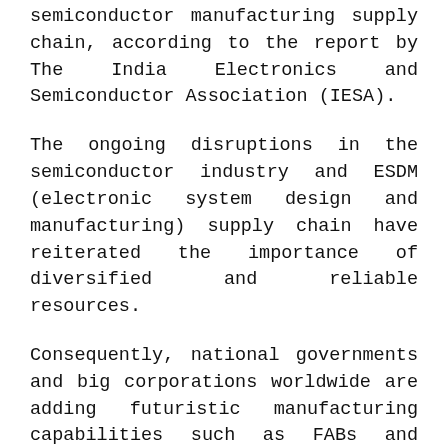semiconductor manufacturing supply chain, according to the report by The India Electronics and Semiconductor Association (IESA).
The ongoing disruptions in the semiconductor industry and ESDM (electronic system design and manufacturing) supply chain have reiterated the importance of diversified and reliable resources.
Consequently, national governments and big corporations worldwide are adding futuristic manufacturing capabilities such as FABs and ATMPs to fuel the widespread national semiconductor independence trend by creating regional chip manufacturing hubs.